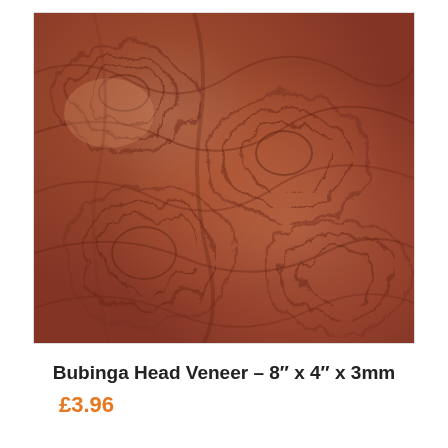[Figure (photo): Close-up photograph of Bubinga Head Veneer wood showing reddish-brown burl grain pattern with swirling, wavy figure typical of bubinga burl wood veneer.]
Bubinga Head Veneer – 8" x 4" x 3mm
£3.96